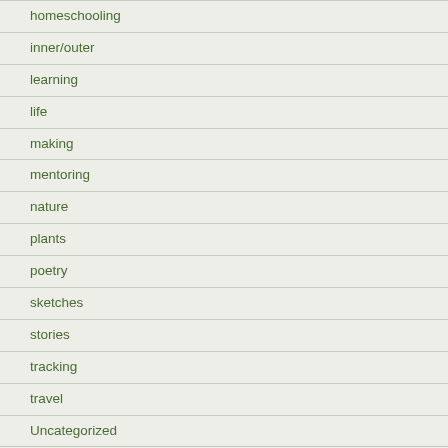homeschooling
inner/outer
learning
life
making
mentoring
nature
plants
poetry
sketches
stories
tracking
travel
Uncategorized
urban/wild